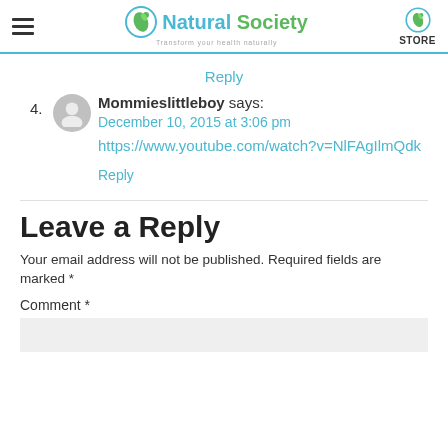Natural Society — Transform your health naturally | STORE
Reply
4. Mommieslittleboy says:
December 10, 2015 at 3:06 pm
https://www.youtube.com/watch?v=NlFAgIlmQdk
Reply
Leave a Reply
Your email address will not be published. Required fields are marked *
Comment *